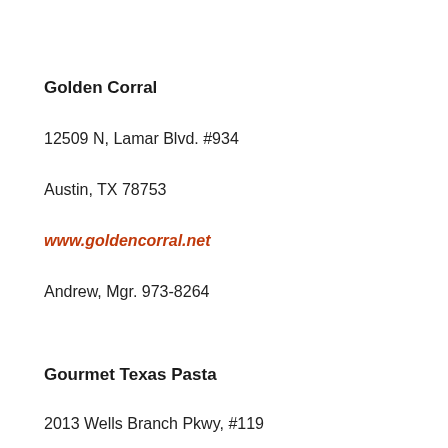Golden Corral
12509 N, Lamar Blvd. #934
Austin, TX 78753
www.goldencorral.net
Andrew, Mgr. 973-8264
Gourmet Texas Pasta
2013 Wells Branch Pkwy, #119